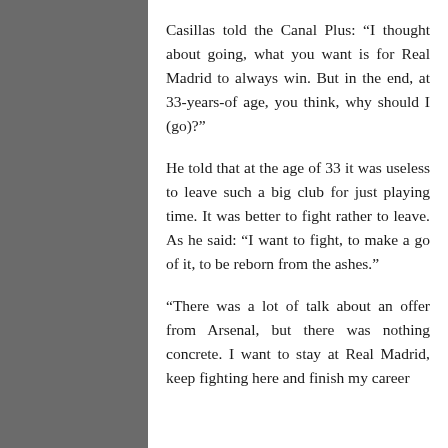Casillas told the Canal Plus: “I thought about going, what you want is for Real Madrid to always win. But in the end, at 33-years-of age, you think, why should I (go)?”
He told that at the age of 33 it was useless to leave such a big club for just playing time. It was better to fight rather to leave. As he said: “I want to fight, to make a go of it, to be reborn from the ashes.”
“There was a lot of talk about an offer from Arsenal, but there was nothing concrete. I want to stay at Real Madrid, keep fighting here and finish my career